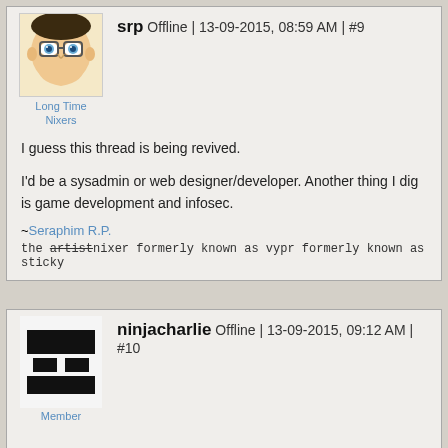[Figure (illustration): Avatar of user srp: illustrated face with glasses and blue eyes]
srp Offline | 13-09-2015, 08:59 AM | #9
Long Time Nixers
I guess this thread is being revived.
I'd be a sysadmin or web designer/developer. Another thing I dig is game development and infosec.
~Seraphim R.P.
the artistnixer formerly known as vypr formerly known as sticky
[Figure (photo): Redacted/censored avatar for user ninjacharlie with black blocks covering content]
ninjacharlie Offline | 13-09-2015, 09:12 AM | #10
Member